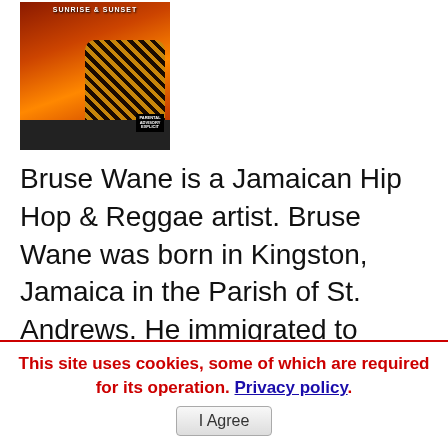[Figure (photo): Album cover image with orange/red sunset background, tiger, palm trees, and parental advisory label]
Bruse Wane is a Jamaican Hip Hop & Reggae artist. Bruse Wane was born in Kingston, Jamaica in the Parish of St. Andrews. He immigrated to America at a
Read More
Cash Kingston Eyes Musical Success with New Single
Aug.22..22 09:27 PM
This site uses cookies, some of which are required for its operation. Privacy policy. I Agree